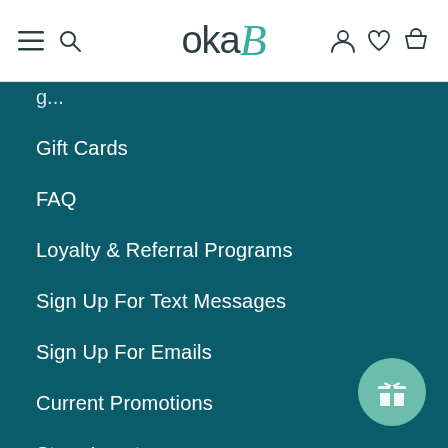[Figure (screenshot): OkaB website header with hamburger menu icon, search icon, OkaB logo in teal and dark, and user/wishlist/cart icons]
Gift Cards
FAQ
Loyalty & Referral Programs
Sign Up For Text Messages
Sign Up For Emails
Current Promotions
Store Locator
Privacy Policy
Refund Policy
Terms of Service
CCPA Opt-Out